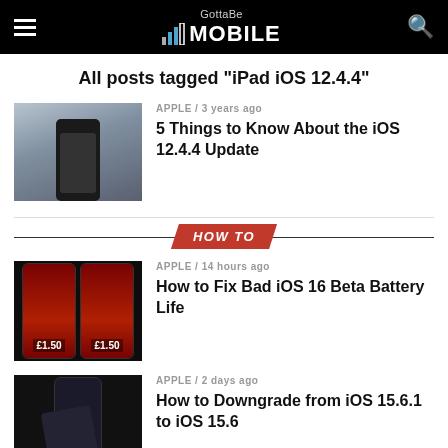GottaBe MOBILE
All posts tagged "iPad iOS 12.4.4"
[Figure (photo): Black iPhone standing upright outdoors on a surface with blurred background]
APPLE / 3 years ago
5 Things to Know About the iOS 12.4.4 Update
HOW TO
[Figure (photo): Two iPhones side by side showing £1.50 price on screen with red background]
APPLE / 14 hours ago
How to Fix Bad iOS 16 Beta Battery Life
[Figure (photo): Hand holding dark smartphone from below against dark background]
APPLE / 2 days ago
How to Downgrade from iOS 15.6.1 to iOS 15.6